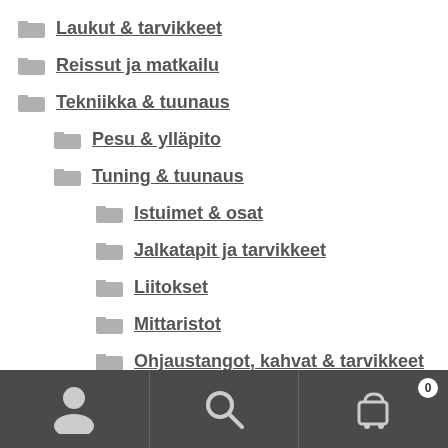Laukut & tarvikkeet
Reissut ja matkailu
Tekniikka & tuunaus
Pesu & ylläpito
Tuning & tuunaus
Istuimet & osat
Jalkatapit ja tarvikkeet
Liitokset
Mittaristot
Ohjaustangot, kahvat & tarvikkeet
Pakoputket ja tarvikkeet
[Figure (screenshot): Bottom navigation toolbar with user icon, search icon, and cart icon with badge showing 0]